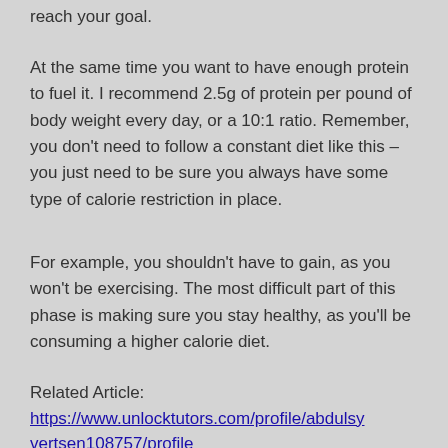reach your goal.
At the same time you want to have enough protein to fuel it. I recommend 2.5g of protein per pound of body weight every day, or a 10:1 ratio. Remember, you don't need to follow a constant diet like this – you just need to be sure you always have some type of calorie restriction in place.
For example, you shouldn't have to gain, as you won't be exercising. The most difficult part of this phase is making sure you stay healthy, as you'll be consuming a higher calorie diet.
Related Article:
https://www.unlocktutors.com/profile/abdulsyvertsen108757/profile
https://www.adventistaspr.org/profile/anibaltheos52011/profile
https://www.ladocalline.com/profile/josonberg